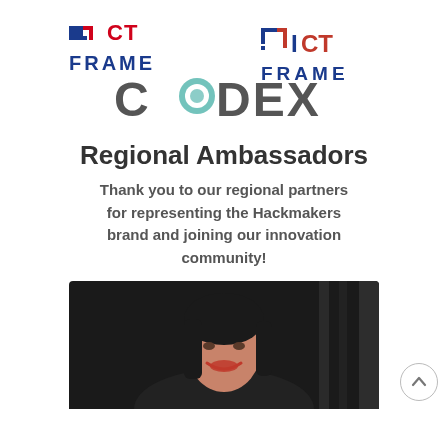[Figure (logo): ICT Frame logo — stylized square icon in blue and red with text 'ICT FRAME' in dark blue/red below]
[Figure (logo): CODEX logo — bold dark gray text with a teal/green circular icon replacing the 'O']
Regional Ambassadors
Thank you to our regional partners for representing the Hackmakers brand and joining our innovation community!
[Figure (photo): Headshot of a young woman with dark hair, smiling, against a dark background]